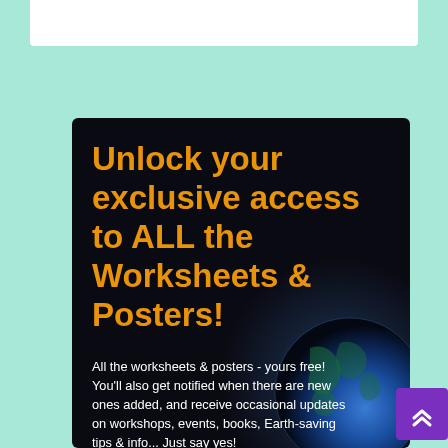[Figure (illustration): White header bar at top of page on mint/teal background]
[Figure (infographic): Dark card with orange heading text and earth/globe image in background]
Unlock your exclusive access to ALL the Worksheets & Posters!
All the worksheets & posters - yours free! You'll also get notified when there are new ones added, and receive occasional updates on workshops, events, books, Earth-saving tips & info... Just say yes!
[Figure (other): Purple scroll-to-top button with double chevron up arrow]